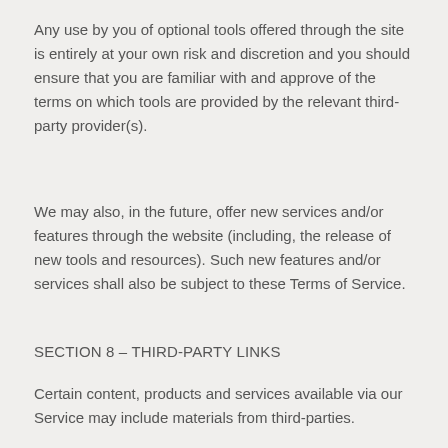Any use by you of optional tools offered through the site is entirely at your own risk and discretion and you should ensure that you are familiar with and approve of the terms on which tools are provided by the relevant third-party provider(s).
We may also, in the future, offer new services and/or features through the website (including, the release of new tools and resources). Such new features and/or services shall also be subject to these Terms of Service.
SECTION 8 – THIRD-PARTY LINKS
Certain content, products and services available via our Service may include materials from third-parties.
Third-party links on this site may direct you to third-party websites that are not affiliated with us. We are not responsible for examining or evaluating the content or accuracy and we do not warrant and will not have any liability or responsibility for any third-party materials or